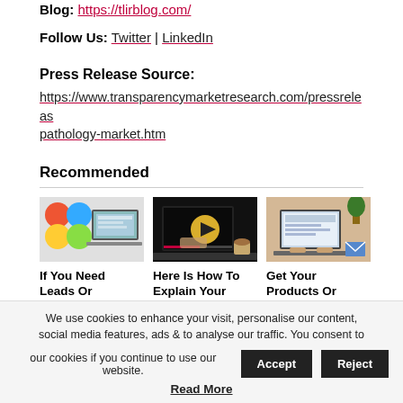Blog: https://tlirblog.com/
Follow Us: Twitter | LinkedIn
Press Release Source:
https://www.transparencymarketresearch.com/pressrelease/pathology-market.htm
Recommended
[Figure (photo): Three recommended article thumbnail images showing laptops and digital marketing visuals]
If You Need Leads Or
Here Is How To Explain Your
Get Your Products Or
We use cookies to enhance your visit, personalise our content, social media features, ads & to analyse our traffic. You consent to our cookies if you continue to use our website. Accept Reject Read More